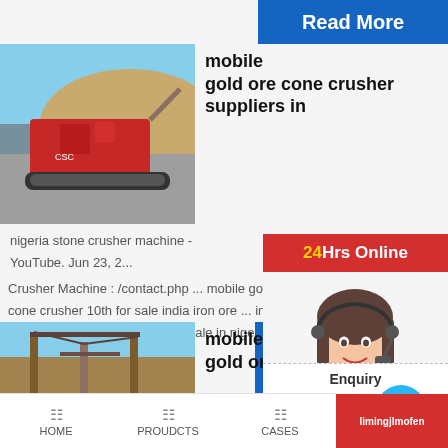Read More
mobile gold ore cone crusher suppliers in
[Figure (photo): Red mobile cone crusher machine on a gravel site]
nigeria stone crusher machine - YouTube. Jun 23, 2...
Crusher Machine : /contact.php ... mobile gold proce cone crusher 10th for sale india iron ore ... in india m crusher coal mining equipment sale in nigeria quartz
24Hrs Online
[Figure (photo): Female customer service agent wearing headset, smiling]
Need qu... & suggestion?
Chat Now
Enquiry
mobile gold ore cone
[Figure (photo): Gold ore processing plant / mining equipment]
HOME   PROUDCTS   CASES   limingjlmofen